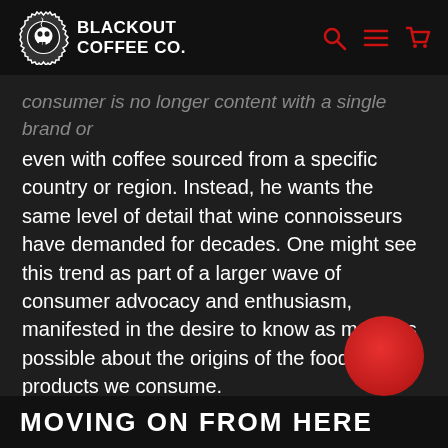BLACKOUT COFFEE CO.
consumer is no longer content with a single brand or even with coffee sourced from a specific country or region. Instead, he wants the same level of detail that wine connoisseurs have demanded for decades. One might see this trend as part of a larger wave of consumer advocacy and enthusiasm, manifested in the desire to know as much as possible about the origins of the foods and products we consume.
[Figure (illustration): Red circle decorative element in bottom right area]
MOVING ON FROM HERE